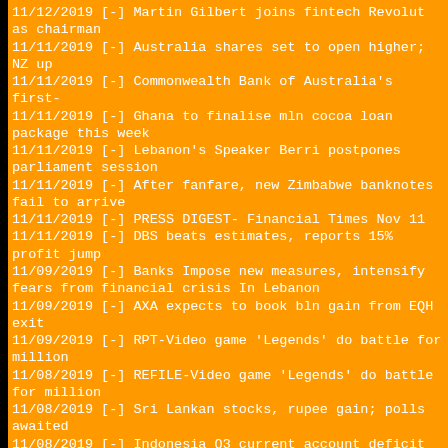11/12/2019 [-] Martin Gilbert joins fintech Revolut as chairman
11/11/2019 [-] Australia shares set to open higher; NZ up
11/11/2019 [-] Commonwealth Bank of Australia's first-
11/11/2019 [-] Ghana to finalise mln cocoa loan package this week
11/11/2019 [-] Lebanon's Speaker Berri postpones parliament session
11/11/2019 [-] After fanfare, new Zimbabwe banknotes fail to arrive
11/11/2019 [-] PRESS DIGEST- Financial Times Nov 11
11/11/2019 [-] DBS beats estimates, reports 15% profit jump
11/09/2019 [-] Banks Impose new measures, intensify fears from financial crisis In Lebanon
11/09/2019 [-] AXA expects to book bln gain from EQH exit
11/09/2019 [-] RPT-Video game 'Legends' do battle for million
11/08/2019 [-] REFILE-Video game 'Legends' do battle for million
11/08/2019 [-] Sri Lankan stocks, rupee gain; polls awaited
11/08/2019 [-] Indonesia Q3 current account deficit narrows to 2.7%
11/08/2019 [-] Zillow reports wider quarterly loss
11/08/2019 [-] Magnitude 5.6 quake hits northwestern Iran EMSC
11/07/2019 [-] Five new life lessons from Charles Schwab
11/07/2019 [-] Swiss group SIX proposes Wellauer as chairman
11/07/2019 [-] RPT-REUTERS SUMMIT-NN I
11/07/2019 [-] RSA 2019 premiums flat, underwriting profit up
11/07/2019 [-] Banking stocks lift Australia market, NZ edges lower
11/07/2019 [-] UPDATE 4-Xerox in billion bid for HP sources
11/07/2019 [-] Fox Corp's first-quarter revenue rises 5%
11/07/2019 [-] UPDATE 3-Xerox in billion bid for HP sources
11/06/2019 [-] Australian shares set to rise on miners, NZ ticks up
11/06/2019 [-] Square qtrly profit jumps nearly 50%
11/06/2019 [-] UPDATE 1-Fox Corp profit b